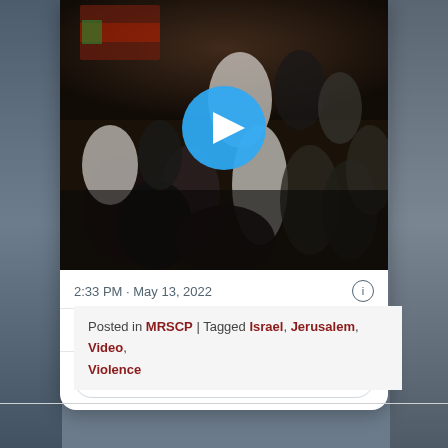[Figure (screenshot): Twitter/X post screenshot showing a video thumbnail of a crowd scene with a blue play button overlay, timestamp 2:33 PM May 13 2022, 207K likes, Reply, Copy link actions, and Read 4.2K replies button]
Posted in MRSCP | Tagged Israel, Jerusalem, Video, Violence